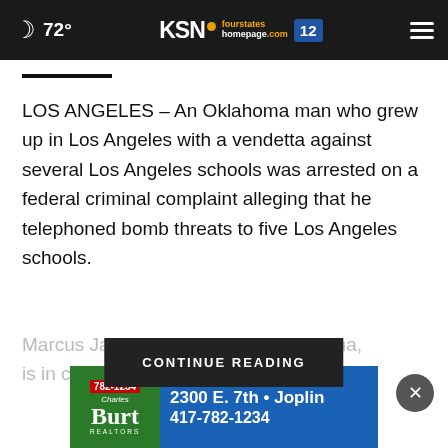72° KSN fourstates homepage.com 12
LOS ANGELES – An Oklahoma man who grew up in Los Angeles with a vendetta against several Los Angeles schools was arrested on a federal criminal complaint alleging that he telephoned bomb threats to five Los Angeles schools.
Marcus James ... ell, Oklahoma, is in custody ... thr...
CONTINUE READING
[Figure (other): Charles Burt Realtors advertisement: 782-1234, 2300 E. 7th • Joplin, 417-782-1234]